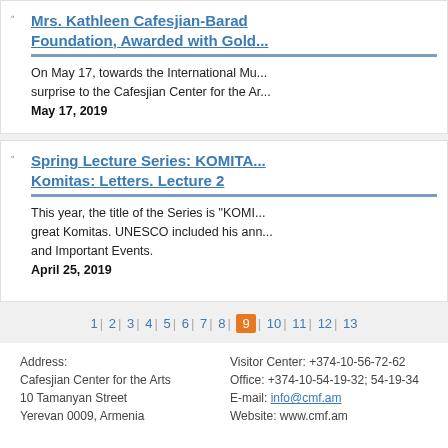Mrs. Kathleen Cafesjian-Barad Foundation, Awarded with Gold...
On May 17, towards the International Mu... surprise to the Cafesjian Center for the Ar...
May 17, 2019
Spring Lecture Series: KOMITA... Komitas: Letters. Lecture 2
This year, the title of the Series is "KOMI... great Komitas. UNESCO included his ann... and Important Events.
April 25, 2019
1 | 2 | 3 | 4 | 5 | 6 | 7 | 8 | 9 | 10 | 11 | 12 | 13
Address: Cafesjian Center for the Arts 10 Tamanyan Street Yerevan 0009, Armenia
Visitor Center: +374-10-56-72-62 Office: +374-10-54-19-32; 54-19-34 E-mail: info@cmf.am Website: www.cmf.am